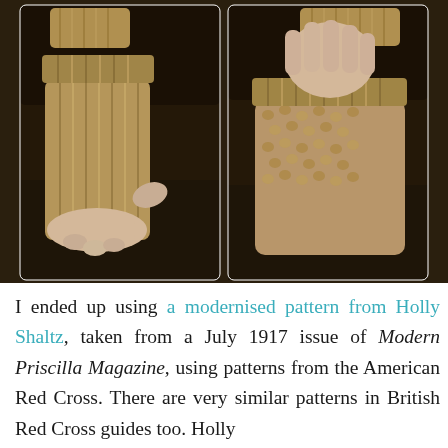[Figure (photo): Two side-by-side photos of a hand wearing a beige/tan knitted fingerless glove or wristlet, displayed on a dark wooden table. Left photo shows the palm side; right photo shows the back of the hand side.]
I ended up using a modernised pattern from Holly Shaltz, taken from a July 1917 issue of Modern Priscilla Magazine, using patterns from the American Red Cross. There are very similar patterns in British Red Cross guides too. Holly